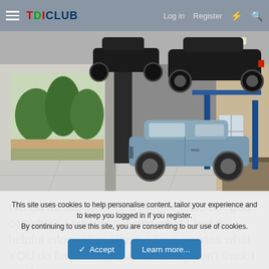TDIClub — Log in  Register
[Figure (photo): Auto repair shop interior showing two cars on hydraulic lifts, with a blue/silver sedan parked nearby on an epoxy-coated floor. Open garage door visible in background showing trees outside.]
I kinda do this stuff for a living. I have no "god complex", I am just passing what I feel is helpful information along. I have no idea what YOU do for a living, but I sincerely don't think I would
This site uses cookies to help personalise content, tailor your experience and to keep you logged in if you register.
By continuing to use this site, you are consenting to our use of cookies.
✓ Accept    Learn more...